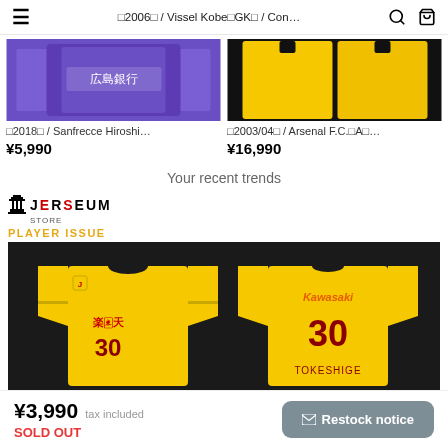☐2006☐ / Vissel Kobe☐GK☐ / Con...
[Figure (photo): Purple soccer jersey with Japanese text '広島銀行' - Sanfrecce Hiroshima 2018]
☐2018☐ / Sanfrecce Hiroshi...
¥5,990
[Figure (photo): Yellow soccer jersey - Arsenal F.C. 2003/04]
☐2003/04☐ / Arsenal F.C.☐A☐...
¥16,990
Your recent trends
[Figure (logo): Jerseum Store logo with column icon and text JERSEUM STORE, PLAYER ISSUE subtitle in orange]
[Figure (photo): Yellow long-sleeve Kawasaki Frontale number 30 TOKESHIGE player issue jersey front and back]
¥3,990  tax included
SOLD OUT
Restock notice